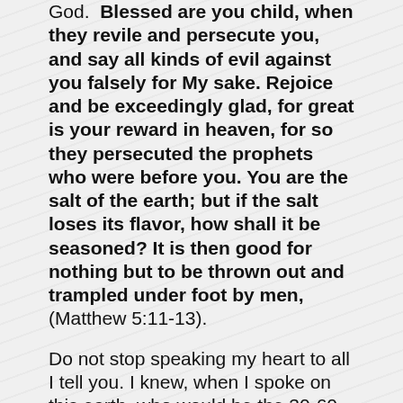God. Blessed are you child, when they revile and persecute you, and say all kinds of evil against you falsely for My sake. Rejoice and be exceedingly glad, for great is your reward in heaven, for so they persecuted the prophets who were before you. You are the salt of the earth; but if the salt loses its flavor, how shall it be seasoned? It is then good for nothing but to be thrown out and trampled under foot by men, (Matthew 5:11-13).
Do not stop speaking my heart to all I tell you. I knew, when I spoke on this earth, who would be the 30-60-100 fold ground. I spoke then and continue to